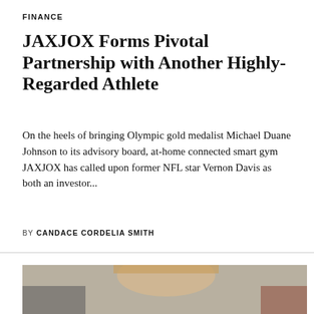FINANCE
JAXJOX Forms Pivotal Partnership with Another Highly-Regarded Athlete
On the heels of bringing Olympic gold medalist Michael Duane Johnson to its advisory board, at-home connected smart gym JAXJOX has called upon former NFL star Vernon Davis as both an investor...
BY CANDACE CORDELIA SMITH
[Figure (photo): Photograph of a smiling blonde woman with long straight hair, seated indoors with a neutral/grey background and a dark object to her left side.]